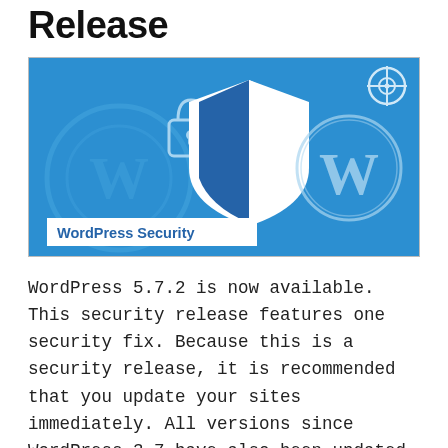Release
[Figure (illustration): Blue banner image with WordPress Security icons including a padlock, a security shield with dark and light blue quadrants, a WordPress 'W' logo circle, and a target/crosshair icon in the top-right corner. A white banner overlay at the bottom reads 'WordPress Security' in bold blue text.]
WordPress 5.7.2 is now available. This security release features one security fix. Because this is a security release, it is recommended that you update your sites immediately. All versions since WordPress 3.7 have also been updated.
WordPress 5.7.2 is a short-cycle security release.